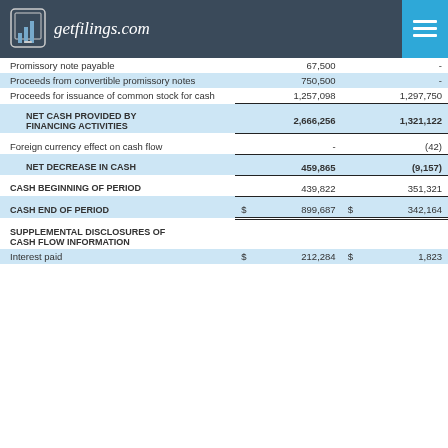getfilings.com
|  | Col1 | Col2 |
| --- | --- | --- |
| Promissory note payable | 67,500 | - |
| Proceeds from convertible promissory notes | 750,500 | - |
| Proceeds for issuance of common stock for cash | 1,257,098 | 1,297,750 |
| NET CASH PROVIDED BY FINANCING ACTIVITIES | 2,666,256 | 1,321,122 |
| Foreign currency effect on cash flow | - | (42) |
| NET DECREASE IN CASH | 459,865 | (9,157) |
| CASH BEGINNING OF PERIOD | 439,822 | 351,321 |
| CASH END OF PERIOD | $ 899,687 | $ 342,164 |
| SUPPLEMENTAL DISCLOSURES OF CASH FLOW INFORMATION |  |  |
| Interest paid | $ 212,284 | $ 1,823 |